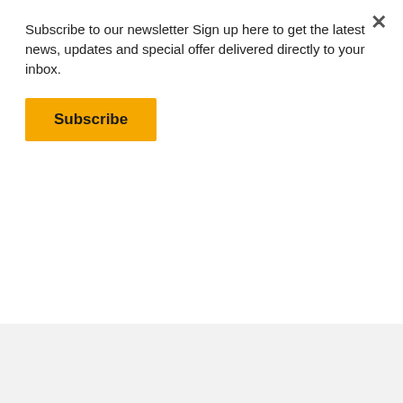Subscribe to our newsletter Sign up here to get the latest news, updates and special offer delivered directly to your inbox.
Subscribe
Plenipotentiary, Deputy Head of Mission, EMBASSY of ROMANIA to the Republic of North Macedonia    Honorary Guest – KRISTINKA RADEVSKI, President of the Chamber of Certified Architects and Certified Engineers of Republic of Macedonia    Honorary Guest – CHRISTOS CHRISTODOULOU, President Cyprus Architects Association;